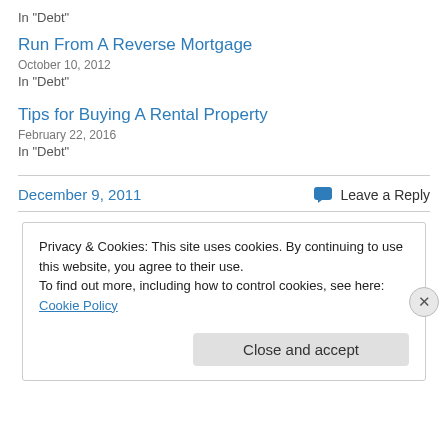In "Debt"
Run From A Reverse Mortgage
October 10, 2012
In "Debt"
Tips for Buying A Rental Property
February 22, 2016
In "Debt"
December 9, 2011
Leave a Reply
Privacy & Cookies: This site uses cookies. By continuing to use this website, you agree to their use.
To find out more, including how to control cookies, see here: Cookie Policy
Close and accept